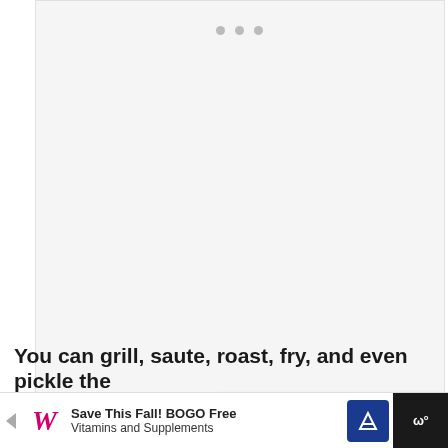[Figure (photo): Large image placeholder area with light gray background and three dot indicators at top (carousel/slider)]
[Figure (screenshot): Heart/like button (teal circle with white heart icon) showing 280 likes, and a share button below it]
[Figure (screenshot): What's Next panel showing thumbnail of food and text 'WHAT'S NEXT → Air Fryer Crispy Buffa...']
You can grill, saute, roast, fry, and even pickle the
[Figure (screenshot): Advertisement bar: Walgreens 'Save This Fall! BOGO Free Vitamins and Supplements' with navigation arrow icon and dark end block with W logo]